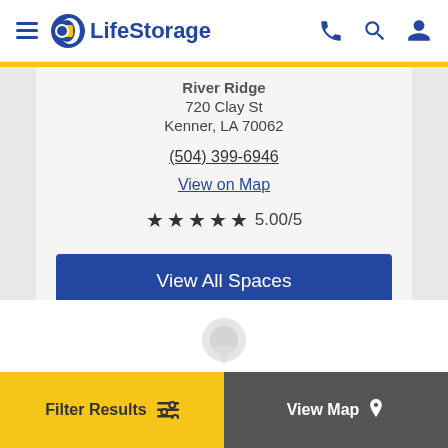LifeStorage
River Ridge
720 Clay St
Kenner, LA 70062
(504) 399-6946
View on Map
5.00/5
View All Spaces
Filter Results
View Map